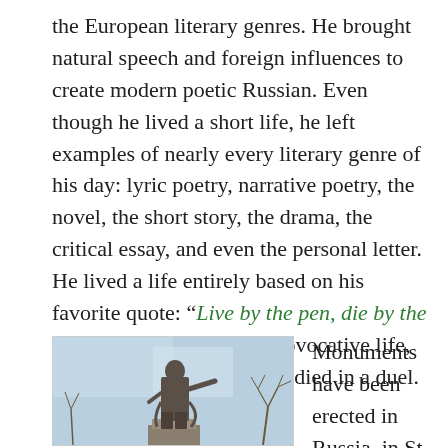the European literary genres. He brought natural speech and foreign influences to create modern poetic Russian. Even though he lived a short life, he left examples of nearly every literary genre of his day: lyric poetry, narrative poetry, the novel, the short story, the drama, the critical essay, and even the personal letter. He lived a life entirely based on his favorite quote: “Live by the pen, die by the sword.” He lived a very provocative life, and was a real playboy. He died in a duel.
[Figure (photo): Bronze statue of a man (likely Pushkin) with one arm outstretched, standing on a pedestal, against a light blue sky with bare tree branches visible.]
Monuments have been erected in Russia, in St Petersburg, Moscow, and schools do carry his name. PBS did a piece on Frontline, entitled Pushkin Genealogy. It is said that